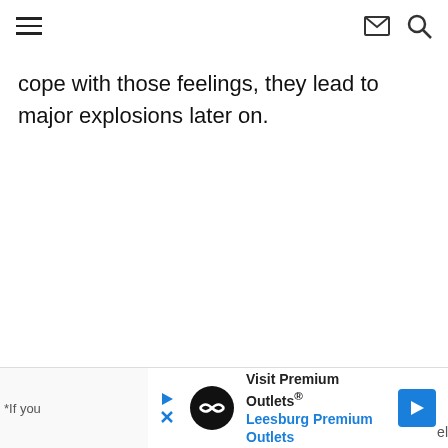≡  ✉ 🔍
cope with those feelings, they lead to major explosions later on.
*If you  [ad: Visit Premium Outlets® Leesburg Premium Outlets]  el